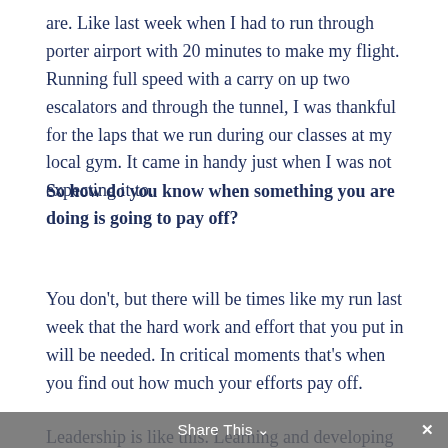are. Like last week when I had to run through porter airport with 20 minutes to make my flight. Running full speed with a carry on up two escalators and through the tunnel, I was thankful for the laps that we run during our classes at my local gym. It came in handy just when I was not expecting it to.
So how do you know when something you are doing is going to pay off?
You don't, but there will be times like my run last week that the hard work and effort that you put in will be needed. In critical moments that's when you find out how much your efforts pay off.
Leadership is like this. Learning and developing new skills takes time and a commitment. Reading,
Share This ∨  ✕